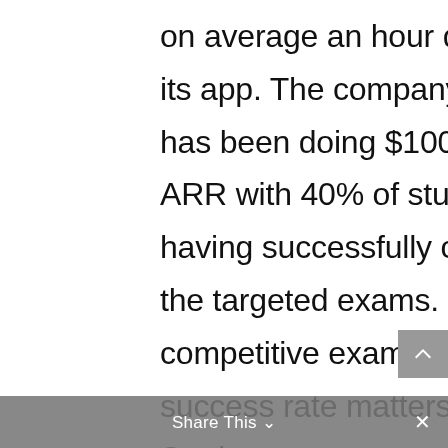on average an hour daily on its app. The company says it has been doing $100K in ARR with 40% of students having successfully cracked the targeted exams. In competitive exams, the success rate matters. Students want to see which coaching centers have a greater success rate. Roots come from an offline background. It understands
Share This ∨  ×